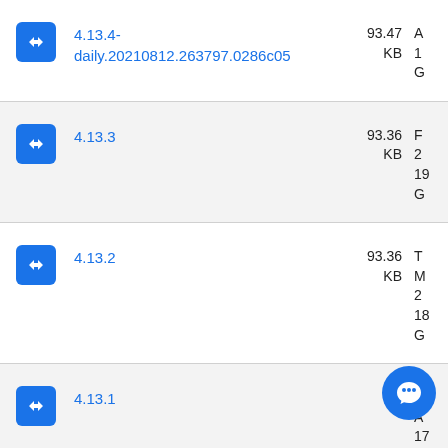4.13.4-daily.20210812.263797.0286c05 — 93.47 KB
4.13.3 — 93.36 KB
4.13.2 — 93.36 KB
4.13.1